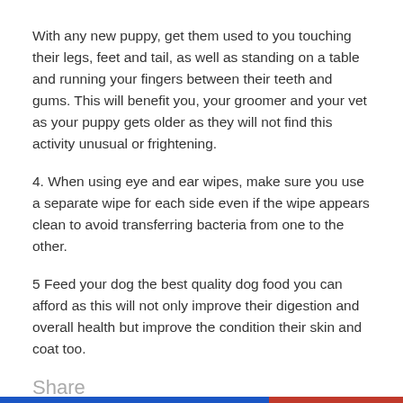With any new puppy, get them used to you touching their legs, feet and tail, as well as standing on a table and running your fingers between their teeth and gums. This will benefit you, your groomer and your vet as your puppy gets older as they will not find this activity unusual or frightening.
4. When using eye and ear wipes, make sure you use a separate wipe for each side even if the wipe appears clean to avoid transferring bacteria from one to the other.
5 Feed your dog the best quality dog food you can afford as this will not only improve their digestion and overall health but improve the condition their skin and coat too.
Share